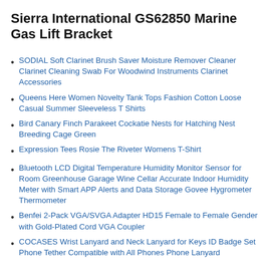Sierra International GS62850 Marine Gas Lift Bracket
SODIAL Soft Clarinet Brush Saver Moisture Remover Cleaner Clarinet Cleaning Swab For Woodwind Instruments Clarinet Accessories
Queens Here Women Novelty Tank Tops Fashion Cotton Loose Casual Summer Sleeveless T Shirts
Bird Canary Finch Parakeet Cockatie Nests for Hatching Nest Breeding Cage Green
Expression Tees Rosie The Riveter Womens T-Shirt
Bluetooth LCD Digital Temperature Humidity Monitor Sensor for Room Greenhouse Garage Wine Cellar Accurate Indoor Humidity Meter with Smart APP Alerts and Data Storage Govee Hygrometer Thermometer
Benfei 2-Pack VGA/SVGA Adapter HD15 Female to Female Gender with Gold-Plated Cord VGA Coupler
COCASES Wrist Lanyard and Neck Lanyard for Keys ID Badge Set Phone Tether Compatible with All Phones Phone Lanyard